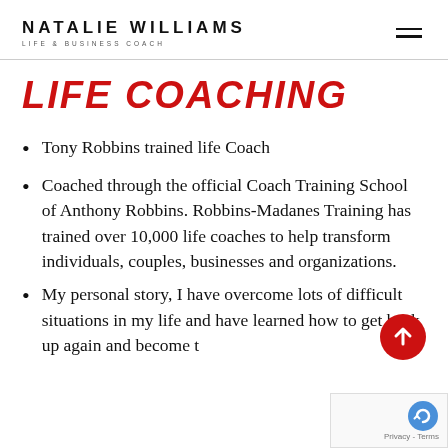NATALIE WILLIAMS LIFE & BUSINESS COACH
LIFE COACHING
Tony Robbins trained life Coach
Coached through the official Coach Training School of Anthony Robbins. Robbins-Madanes Training has trained over 10,000 life coaches to help transform individuals, couples, businesses and organizations.
My personal story, I have overcome lots of difficult situations in my life and have learned how to get back up again and become th…